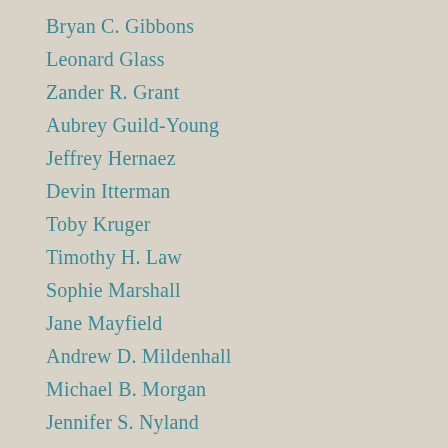Bryan C. Gibbons
Leonard Glass
Zander R. Grant
Aubrey Guild-Young
Jeffrey Hernaez
Devin Itterman
Toby Kruger
Timothy H. Law
Sophie Marshall
Jane Mayfield
Andrew D. Mildenhall
Michael B. Morgan
Jennifer S. Nyland